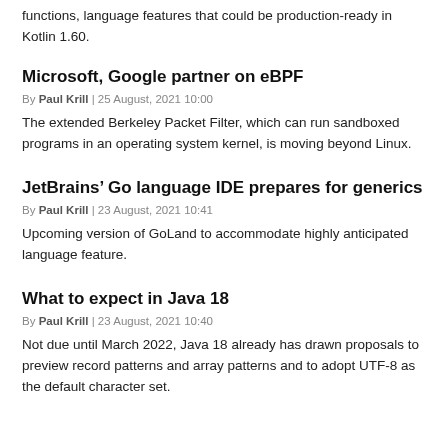functions, language features that could be production-ready in Kotlin 1.60.
Microsoft, Google partner on eBPF
By Paul Krill | 25 August, 2021 10:00
The extended Berkeley Packet Filter, which can run sandboxed programs in an operating system kernel, is moving beyond Linux.
JetBrains’ Go language IDE prepares for generics
By Paul Krill | 23 August, 2021 10:41
Upcoming version of GoLand to accommodate highly anticipated language feature.
What to expect in Java 18
By Paul Krill | 23 August, 2021 10:40
Not due until March 2022, Java 18 already has drawn proposals to preview record patterns and array patterns and to adopt UTF-8 as the default character set.